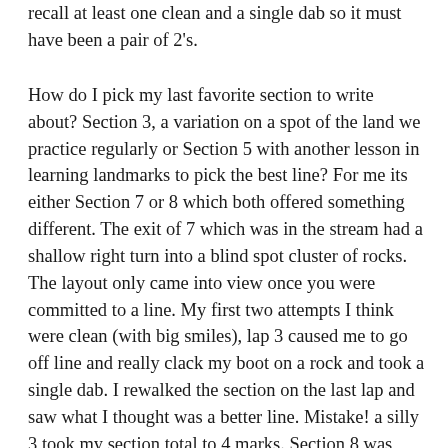recall at least one clean and a single dab so it must have been a pair of 2's.
How do I pick my last favorite section to write about? Section 3, a variation on a spot of the land we practice regularly or Section 5 with another lesson in learning landmarks to pick the best line? For me its either Section 7 or 8 which both offered something different. The exit of 7 which was in the stream had a shallow right turn into a blind spot cluster of rocks. The layout only came into view once you were committed to a line. My first two attempts I think were clean (with big smiles), lap 3 caused me to go off line and really clack my boot on a rock and took a single dab. I rewalked the section on the last lap and saw what I thought was a better line. Mistake! a silly 3 took my section total to 4 marks. Section 8 was another great stretch section on the inter route. A straightforward entry with a couple of root strewn banks was OK if you keep your concentration high but after that a right hand turn into a steep climb with a planted tree at the rest of the climb. Y...